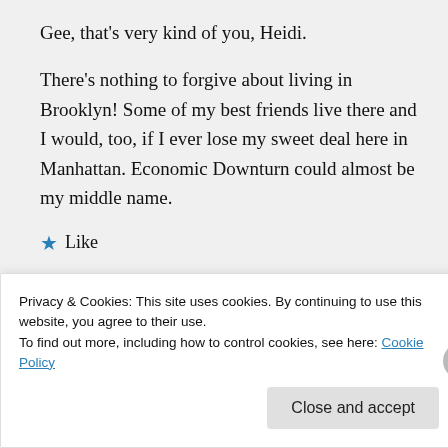Gee, that's very kind of you, Heidi.
There's nothing to forgive about living in Brooklyn! Some of my best friends live there and I would, too, if I ever lose my sweet deal here in Manhattan. Economic Downturn could almost be my middle name.
★ Like
↳ Reply
Privacy & Cookies: This site uses cookies. By continuing to use this website, you agree to their use.
To find out more, including how to control cookies, see here: Cookie Policy
Close and accept